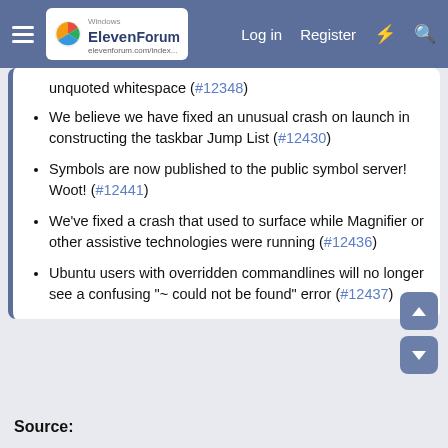Windows ElevenForum | Log in | Register
unquoted whitespace (#12348)
We believe we have fixed an unusual crash on launch in constructing the taskbar Jump List (#12430)
Symbols are now published to the public symbol server! Woot! (#12441)
We've fixed a crash that used to surface while Magnifier or other assistive technologies were running (#12436)
Ubuntu users with overridden commandlines will no longer see a confusing "~ could not be found" error (#12437)
Source: